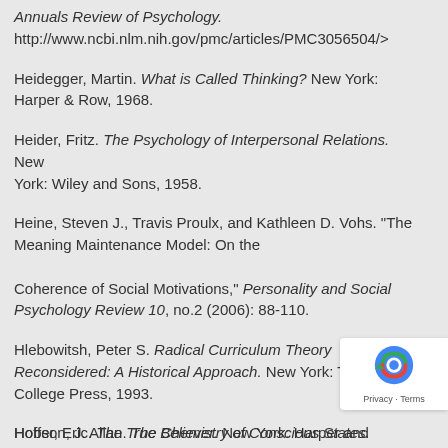Annuals Review of Psychology. http://www.ncbi.nlm.nih.gov/pmc/articles/PMC3056504/>
Heidegger, Martin. What is Called Thinking? New York: Harper & Row, 1968.
Heider, Fritz. The Psychology of Interpersonal Relations. New York: Wiley and Sons, 1958.
Heine, Steven J., Travis Proulx, and Kathleen D. Vohs. "The Meaning Maintenance Model: On the Coherence of Social Motivations," Personality and Social Psychology Review 10, no.2 (2006): 88-110.
Hlebowitsh, Peter S. Radical Curriculum Theory Reconsidered: A Historical Approach. New York: Teachers College Press, 1993.
Hobson, J. Allan. The Chemistry of Conscious States. Boston: Little, Brown & Company, 1994.
Hoffer, Eric. The True Believer. New York: Harper and R...